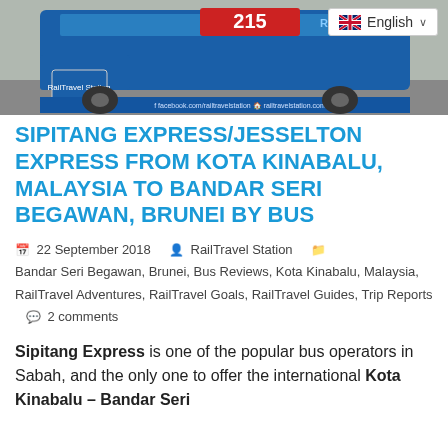[Figure (photo): Blue double-decker bus number 215 with RailTravel Station branding, showing facebook.com/railtravelstation and railtravelstation.com in the lower bar. UK flag language selector showing 'English' in top right corner.]
SIPITANG EXPRESS/JESSELTON EXPRESS FROM KOTA KINABALU, MALAYSIA TO BANDAR SERI BEGAWAN, BRUNEI BY BUS
22 September 2018   RailTravel Station   Bandar Seri Begawan, Brunei, Bus Reviews, Kota Kinabalu, Malaysia, RailTravel Adventures, RailTravel Goals, RailTravel Guides, Trip Reports   2 comments
Sipitang Express is one of the popular bus operators in Sabah, and the only one to offer the international Kota Kinabalu – Bandar Seri